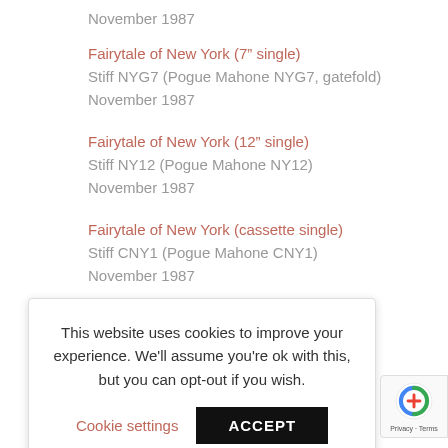November 1987
Fairytale of New York (7" single)
Stiff NYG7 (Pogue Mahone NYG7, gatefold)
November 1987
Fairytale of New York (12" single)
Stiff NY12 (Pogue Mahone NY12)
November 1987
Fairytale of New York (cassette single)
Stiff CNY1 (Pogue Mahone CNY1)
November 1987
This website uses cookies to improve your experience. We'll assume you're ok with this, but you can opt-out if you wish.
Cookie settings   ACCEPT
1987?